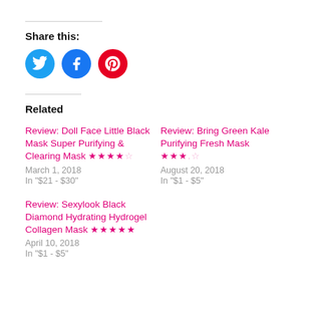Share this:
[Figure (illustration): Three circular social media share buttons: Twitter (blue), Facebook (blue), Pinterest (red)]
Related
Review: Doll Face Little Black Mask Super Purifying & Clearing Mask ★★★★☆
March 1, 2018
In "$21 - $30"
Review: Bring Green Kale Purifying Fresh Mask ★★★.☆
August 20, 2018
In "$1 - $5"
Review: Sexylook Black Diamond Hydrating Hydrogel Collagen Mask ★★★★★
April 10, 2018
In "$1 - $5"